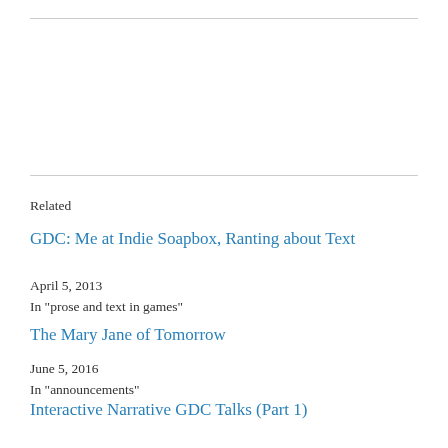Related
GDC: Me at Indie Soapbox, Ranting about Text
April 5, 2013
In "prose and text in games"
The Mary Jane of Tomorrow
June 5, 2016
In "announcements"
Interactive Narrative GDC Talks (Part 1)
April 2, 2015
In "commercial IF"